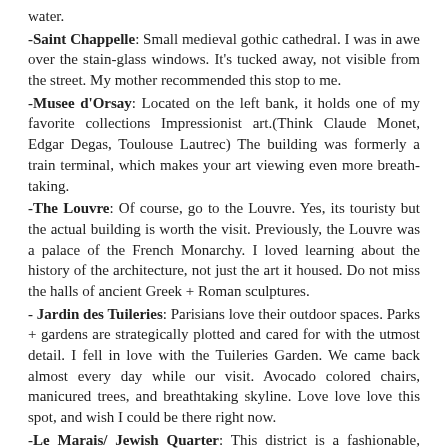water.
-Saint Chappelle: Small medieval gothic cathedral. I was in awe over the stain-glass windows. It's tucked away, not visible from the street. My mother recommended this stop to me.
-Musee d'Orsay: Located on the left bank, it holds one of my favorite collections Impressionist art.(Think Claude Monet, Edgar Degas, Toulouse Lautrec) The building was formerly a train terminal, which makes your art viewing even more breath-taking.
-The Louvre: Of course, go to the Louvre. Yes, its touristy but the actual building is worth the visit. Previously, the Louvre was a palace of the French Monarchy. I loved learning about the history of the architecture, not just the art it housed. Do not miss the halls of ancient Greek + Roman sculptures.
- Jardin des Tuileries: Parisians love their outdoor spaces. Parks + gardens are strategically plotted and cared for with the utmost detail. I fell in love with the Tuileries Garden. We came back almost every day while our visit. Avocado colored chairs, manicured trees, and breathtaking skyline. Love love love this spot, and wish I could be there right now.
-Le Marais/ Jewish Quarter: This district is a fashionable, trendy and rough around the edges part of the city. The best vintage shops are in this neighborhood. Plan to explore- the best vintage shops were the ones I accidentally stumbled upon them.
-Saint Germain: Located on the South Bank. I adored the architecture in this neighborhood. I couldn't stop snapping photos/looking up. There are